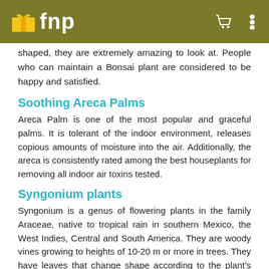fnp
shaped, they are extremely amazing to look at. People who can maintain a Bonsai plant are considered to be happy and satisfied.
Soothing Areca Palms
Areca Palm is one of the most popular and graceful palms. It is tolerant of the indoor environment, releases copious amounts of moisture into the air. Additionally, the areca is consistently rated among the best houseplants for removing all indoor air toxins tested.
Syngonium plants
Syngonium is a genus of flowering plants in the family Araceae, native to tropical rain in southern Mexico, the West Indies, Central and South America. They are woody vines growing to heights of 10-20 m or more in trees. They have leaves that change shape according to the plant's stage of growth, and adult leaf forms are often much more lobed than the juvenile forms usually seen on small house plants. These plants fits well in all parameters: they bring luck, absorb pollutants and purify indoor air, also are super easy to maintain.
Sansevieria plants